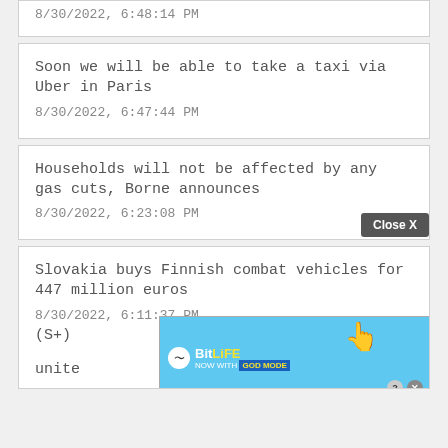8/30/2022, 6:48:14 PM
Soon we will be able to take a taxi via Uber in Paris
8/30/2022, 6:47:44 PM
Households will not be affected by any gas cuts, Borne announces
8/30/2022, 6:23:08 PM
Slovakia buys Finnish combat vehicles for 447 million euros
8/30/2022, 6:11:37 PM
[Figure (screenshot): BitLife advertisement banner: 'NOW WITH GOD MODE' on blue background with pointing hand graphic. Close X button visible.]
(S+) ... er: unite